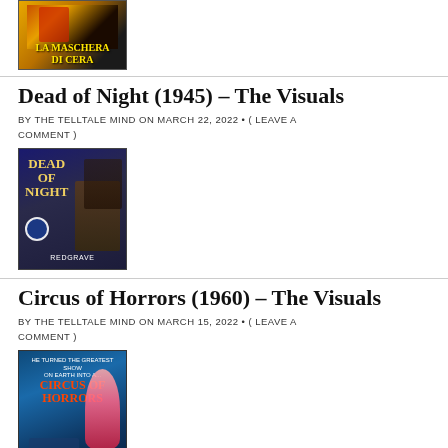[Figure (illustration): Movie poster for La Maschera Di Cera, showing dark dramatic image with yellow text at bottom]
Dead of Night (1945) – The Visuals
BY THE TELLTALE MIND ON MARCH 22, 2022 • ( LEAVE A COMMENT )
[Figure (illustration): Movie poster for Dead of Night showing REDGRAVE text and dramatic figures on dark blue background]
Circus of Horrors (1960) – The Visuals
BY THE TELLTALE MIND ON MARCH 15, 2022 • ( LEAVE A COMMENT )
[Figure (illustration): Movie poster for Circus of Horrors on blue background with red title text and acrobat figure]